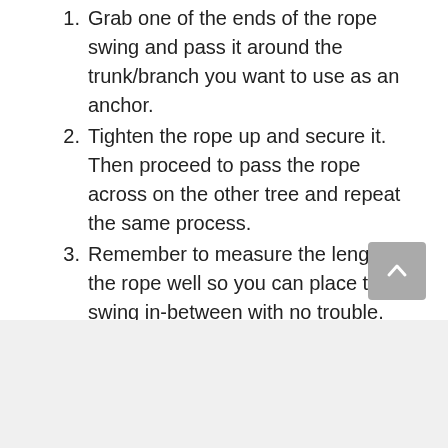1. Grab one of the ends of the rope swing and pass it around the trunk/branch you want to use as an anchor.
2. Tighten the rope up and secure it. Then proceed to pass the rope across on the other tree and repeat the same process.
3. Remember to measure the length of the rope well so you can place the swing in-between with no trouble.
4. Attach the swing (if it isn't already) and try it up. If it needs any fix, then shorten or release the ropes as necessary. Tighten and secure once again.